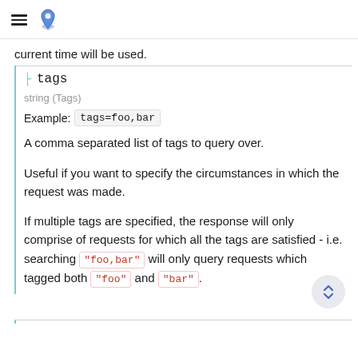[hamburger menu icon] [location/map pin icon]
current time will be used.
tags
string (Tags)
Example: tags=foo,bar
A comma separated list of tags to query over.
Useful if you want to specify the circumstances in which the request was made.
If multiple tags are specified, the response will only comprise of requests for which all the tags are satisfied - i.e. searching "foo,bar" will only query requests which tagged both "foo" and "bar".